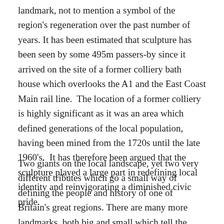landmark, not to mention a symbol of the region's regeneration over the past number of years. It has been estimated that sculpture has been seen by some 495m passers-by since it arrived on the site of a former colliery bath house which overlooks the A1 and the East Coast Main rail line.  The location of a former colliery is highly significant as it was an area which defined generations of the local population, having been mined from the 1720s until the late 1960's.  It has therefore been argued that the sculpture played a large part in redefining local identity and reinvigorating a diminished civic pride.
Two giants on the local landscape, yet two very different tributes which go a small way of defining the people and history of one of Britain's great regions. There are many more landmarks, both big and small which tell the story of the North East, hopefully the clear memories outweigh the fuzzier recollections as I